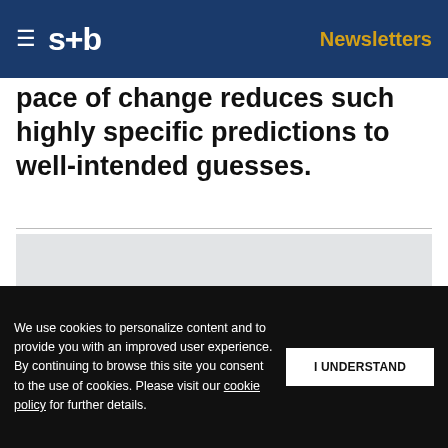≡  s+b    Newsletters
pace of change reduces such highly specific predictions to well-intended guesses.
[Figure (illustration): Two decorative birds made of colorful mosaic/geometric patterns flying, with small clouds, on a light gray background. The birds are stylized with envelope and leaf motifs in blue, red, teal, and gold colors.]
GET THE STRATEGY+BUSINESS NEWSLETTER DELIVERED RIGHT TO YOUR INBOX
Get s+b's award-winning newsletter delivered to your inbox.
We use cookies to personalize content and to provide you with an improved user experience. By continuing to browse this site you consent to the use of cookies. Please visit our cookie policy for further details.